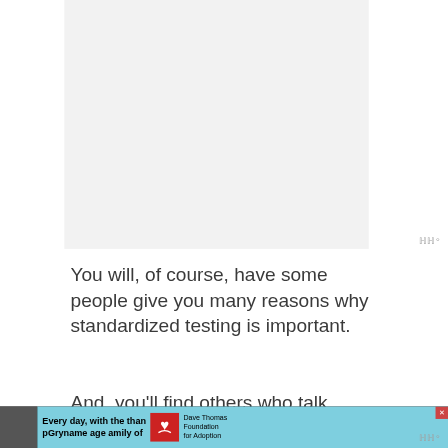[Figure (photo): Large light gray placeholder image area occupying upper portion of page]
You will, of course, have some people give you many reasons why standardized testing is important.
And, you'll find others who talk
[Figure (screenshot): Advertisement bar at bottom: black bar with photo of woman on left, teal ad for Dave Thomas Foundation for Adoption in center with close button, watermark logo on right]